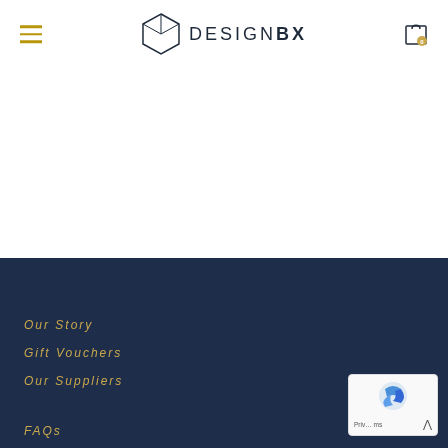DESIGNBX
Our Story
Gift Vouchers
Our Suppliers
FAQs
[Figure (logo): reCAPTCHA badge with Google logo and Privacy/Terms links]
[Figure (logo): DesignBX logo with hexagon icon and text DESIGNBX]